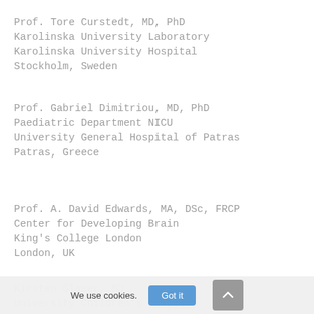Prof. Tore Curstedt, MD, PhD
Karolinska University Laboratory
Karolinska University Hospital
Stockholm, Sweden
Prof. Gabriel Dimitriou, MD, PhD
Paediatric Department NICU
University General Hospital of Patras
Patras, Greece
Prof. A. David Edwards, MA, DSc, FRCP
Center for Developing Brain
King's College London
London, UK
Kirsten Glaser, MD
University Children's Hospital